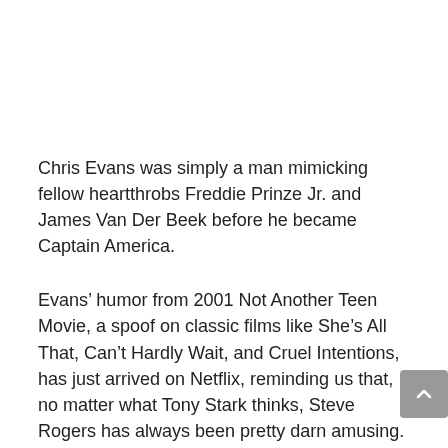Chris Evans was simply a man mimicking fellow heartthrobs Freddie Prinze Jr. and James Van Der Beek before he became Captain America.
Evans’ humor from 2001 Not Another Teen Movie, a spoof on classic films like She’s All That, Can’t Hardly Wait, and Cruel Intentions, has just arrived on Netflix, reminding us that, no matter what Tony Stark thinks, Steve Rogers has always been pretty darn amusing.